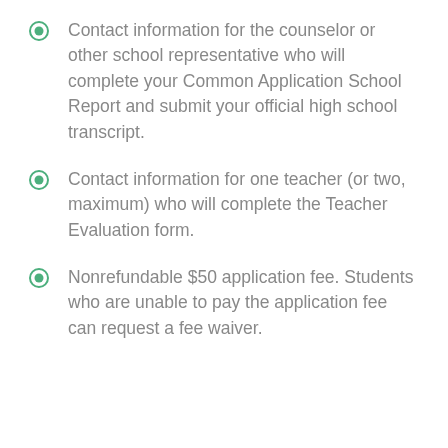Contact information for the counselor or other school representative who will complete your Common Application School Report and submit your official high school transcript.
Contact information for one teacher (or two, maximum) who will complete the Teacher Evaluation form.
Nonrefundable $50 application fee. Students who are unable to pay the application fee can request a fee waiver.